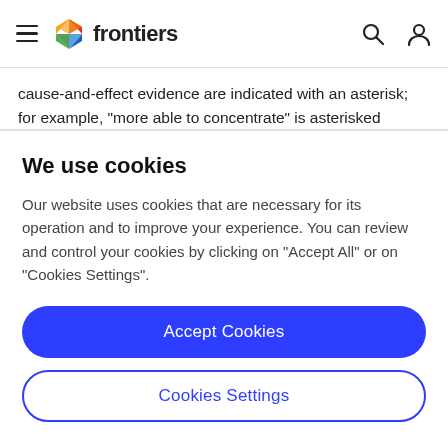frontiers
cause-and-effect evidence are indicated with an asterisk; for example, "more able to concentrate" is asterisked because experimental research has demonstrated that exposure to nature boosts concentration. Similarly, "increased retention of subject matter" is asterisked because experimental research has demonstrated that
We use cookies
Our website uses cookies that are necessary for its operation and to improve your experience. You can review and control your cookies by clicking on "Accept All" or on "Cookies Settings".
Accept Cookies
Cookies Settings